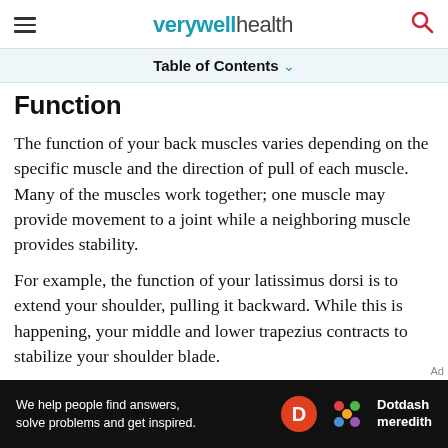verywell health
Table of Contents
Function
The function of your back muscles varies depending on the specific muscle and the direction of pull of each muscle. Many of the muscles work together; one muscle may provide movement to a joint while a neighboring muscle provides stability.
For example, the function of your latissimus dorsi is to extend your shoulder, pulling it backward. While this is happening, your middle and lower trapezius contracts to stabilize your shoulder blade.
[Figure (other): Dotdash Meredith advertisement banner: 'We help people find answers, solve problems and get inspired.' with Dotdash Meredith logo]